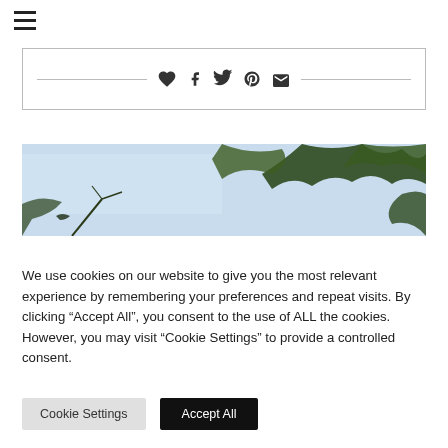[Figure (other): Hamburger/navigation menu icon with three horizontal lines]
[Figure (other): Social share bar with heart, Facebook, Twitter, Pinterest, and email icons between two horizontal lines]
[Figure (photo): Outdoor photo looking up at tree branches with green leaves against a light blue sky]
We use cookies on our website to give you the most relevant experience by remembering your preferences and repeat visits. By clicking “Accept All”, you consent to the use of ALL the cookies. However, you may visit “Cookie Settings” to provide a controlled consent.
Cookie Settings
Accept All